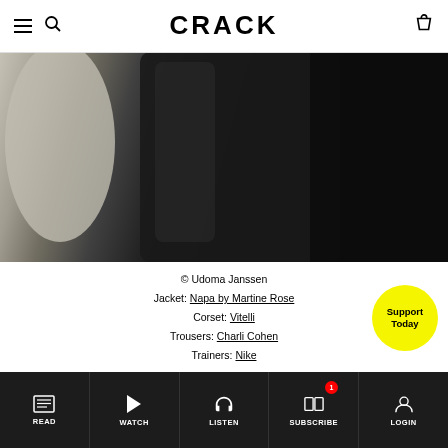CRACK
[Figure (photo): Close-up photo of a person wearing a black leather/vinyl jacket and matching trousers, with one arm extended. The background is a muted olive/grey tone.]
© Udoma Janssen
Jacket: Napa by Martine Rose
Corset: Vitelli
Trousers: Charli Cohen
Trainers: Nike
READ | WATCH | LISTEN | SUBSCRIBE | LOGIN